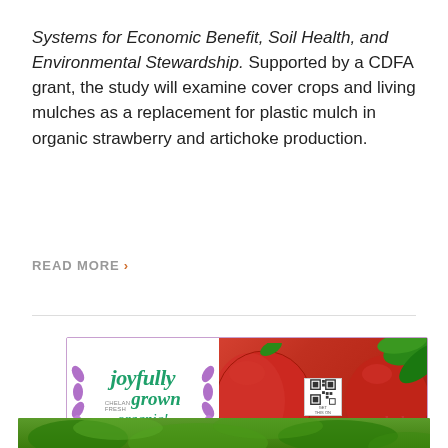Systems for Economic Benefit, Soil Health, and Environmental Stewardship. Supported by a CDFA grant, the study will examine cover crops and living mulches as a replacement for plastic mulch in organic strawberry and artichoke production.
READ MORE >
[Figure (other): Advertisement banner for Chelan Fresh 'joyfully grown organic!' brand featuring red apples with green leaves, purple petal decorations, and a QR code]
[Figure (photo): Bottom portion of a photo showing green leafy plants]